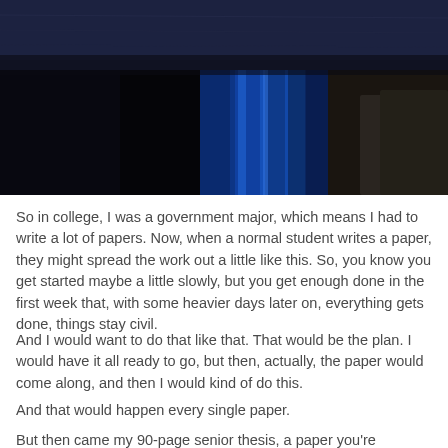[Figure (photo): Dark photograph showing blue curtains or drapes with dark background, partial view of a person on the right edge]
So in college, I was a government major, which means I had to write a lot of papers. Now, when a normal student writes a paper, they might spread the work out a little like this. So, you know you get started maybe a little slowly, but you get enough done in the first week that, with some heavier days later on, everything gets done, things stay civil.
And I would want to do that like that. That would be the plan. I would have it all ready to go, but then, actually, the paper would come along, and then I would kind of do this.
And that would happen every single paper.
But then came my 90-page senior thesis, a paper you're